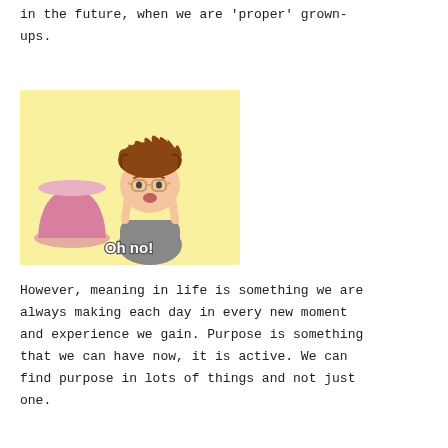in the future, when we are 'proper' grown-ups.
[Figure (illustration): Cartoon illustration of a child with messy brown hair and glasses looking worried, with a pink jelly/pudding mound beside them. Yellow background. Text 'Oh no!' in white with outline at the bottom.]
However, meaning in life is something we are always making each day in every new moment and experience we gain. Purpose is something that we can have now, it is active. We can find purpose in lots of things and not just one.